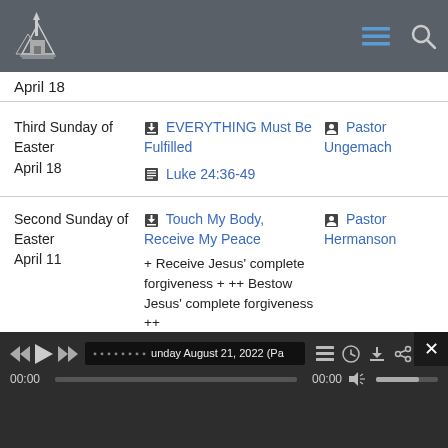Church website header with logo and navigation icons
April 18
| Date | Sermon | Pastor |
| --- | --- | --- |
| Third Sunday of Easter
April 18 | EVERYTHING Must Be Fulfilled
Luke 24:36-49 | Pastor Ungemach |
| Second Sunday of Easter
April 11 | Touch My Body, Receive My Peace
+ Receive Jesus' complete forgiveness + ++ Bestow Jesus' complete forgiveness ++
John 20:19-31 | Pastor Hermanson |
[Figure (screenshot): Media player bar showing audio player with title 'unday August 21, 2022 (Pa', playback controls, time display 00:00, volume slider, and close button]